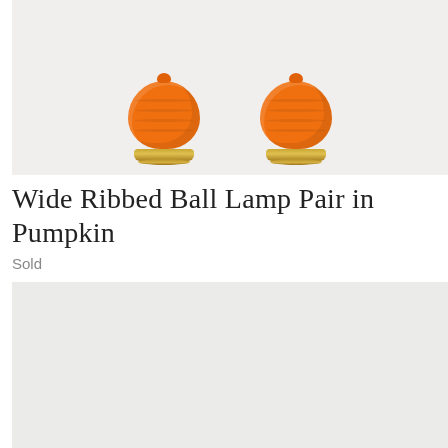[Figure (photo): Two orange ribbed ball lamps with gold bases shown against a light gray background. The lamps are ceramic with a pumpkin/orange color and gold metallic bases.]
Wide Ribbed Ball Lamp Pair in Pumpkin
Sold
[Figure (photo): Second product image area, light gray background, appears to be a continuation or alternate view of the lamp product listing.]